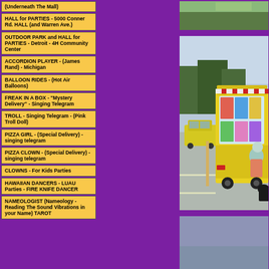(Underneath The Mall)
HALL for PARTIES - 5000 Conner Rd. HALL (and Warren Ave.)
OUTDOOR PARK and HALL for PARTIES - Detroit - 4H Community Center
ACCORDION PLAYER - (James Rand) - Michigan
BALLOON RIDES - (Hot Air Balloons)
FREAK IN A BOX - "Mystery Delivery" - Singing Telegram
TROLL - Singing Telegram - (Pink Troll Doll)
PIZZA GIRL - (Special Delivery) - singing telegram
PIZZA CLOWN - (Special Delivery) - singing telegram
CLOWNS - For Kids Parties
HAWAIIAN DANCERS - LUAU Parties - FIRE KNIFE DANCER
NAMEOLOGIST (Nameology - Reading The Sound Vibrations in your Name) TAROT
[Figure (photo): Top photo partially visible - outdoor scene]
[Figure (photo): Ice cream truck scene - yellow ice cream truck with red and white striped awning, children nearby in a parking lot, trees in background]